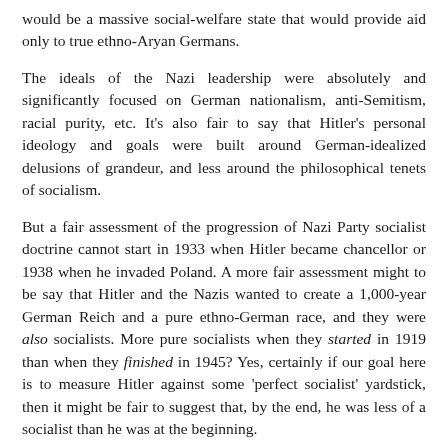would be a massive social-welfare state that would provide aid only to true ethno-Aryan Germans.
The ideals of the Nazi leadership were absolutely and significantly focused on German nationalism, anti-Semitism, racial purity, etc. It's also fair to say that Hitler's personal ideology and goals were built around German-idealized delusions of grandeur, and less around the philosophical tenets of socialism.
But a fair assessment of the progression of Nazi Party socialist doctrine cannot start in 1933 when Hitler became chancellor or 1938 when he invaded Poland. A more fair assessment might to be say that Hitler and the Nazis wanted to create a 1,000-year German Reich and a pure ethno-German race, and they were also socialists. More pure socialists when they started in 1919 than when they finished in 1945? Yes, certainly if our goal here is to measure Hitler against some 'perfect socialist' yardstick, then it might be fair to suggest that, by the end, he was less of a socialist than he was at the beginning.
But as I've already pointed out, the same could be said for virtually every socialist leader of all time. They all started with grand socialist ideals, tried them out, found that they didn't seem to work to achieve any practical real-world goals, so instead they became a tyrannical dictator wielding violence, torture and autocratic rule to